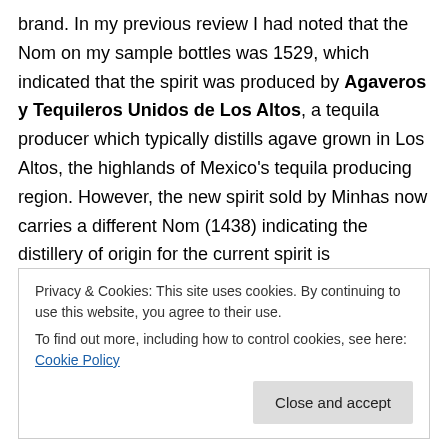brand. In my previous review I had noted that the Nom on my sample bottles was 1529, which indicated that the spirit was produced by Agaveros y Tequileros Unidos de Los Altos, a tequila producer which typically distills agave grown in Los Altos, the highlands of Mexico's tequila producing region. However, the new spirit sold by Minhas now carries a different Nom (1438) indicating the distillery of origin for the current spirit is Destiladora del Valle de Tequila, S.A. de C.V., a producer which typically uses both highland and lowland agave in its production of Tequila. (The NOM identifier is required by the Mexican
Privacy & Cookies: This site uses cookies. By continuing to use this website, you agree to their use. To find out more, including how to control cookies, see here: Cookie Policy
Close and accept
origin.)